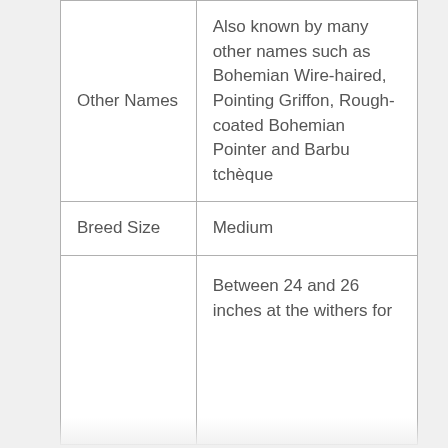| Other Names | Also known by many other names such as Bohemian Wire-haired, Pointing Griffon, Rough-coated Bohemian Pointer and Barbu tchèque |
| Breed Size | Medium |
|  | Between 24 and 26 inches at the withers for |